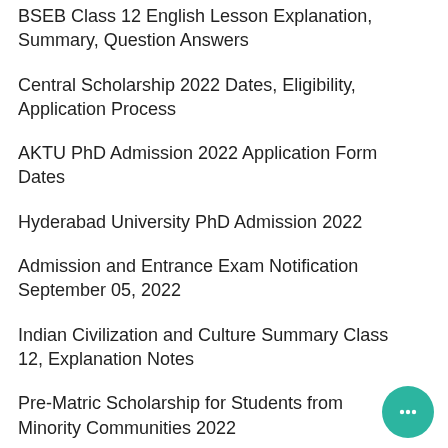BSEB Class 12 English Lesson Explanation, Summary, Question Answers
Central Scholarship 2022 Dates, Eligibility, Application Process
AKTU PhD Admission 2022 Application Form Dates
Hyderabad University PhD Admission 2022
Admission and Entrance Exam Notification September 05, 2022
Indian Civilization and Culture Summary Class 12, Explanation Notes
Pre-Matric Scholarship for Students from Minority Communities 2022